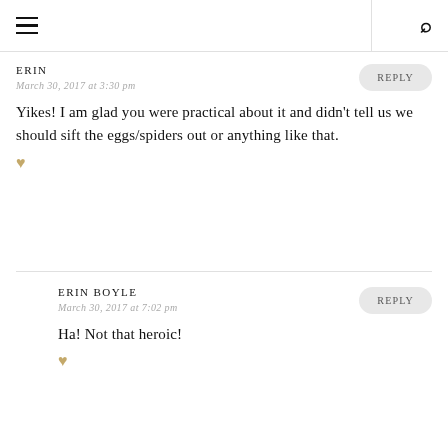ERIN
March 30, 2017 at 3:30 pm
Yikes! I am glad you were practical about it and didn't tell us we should sift the eggs/spiders out or anything like that. ♥
REPLY
ERIN BOYLE
March 30, 2017 at 7:02 pm
Ha! Not that heroic! ♥
REPLY